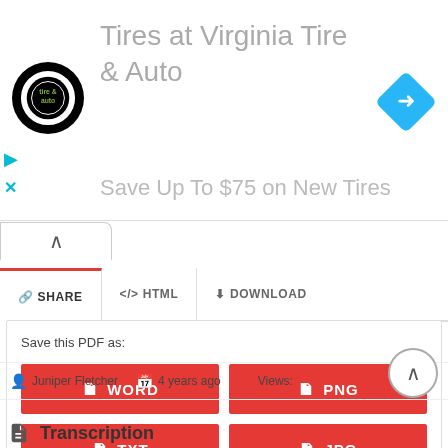[Figure (screenshot): Advertisement banner for Virginia Tire & Auto showing logo, text 'Tires at Virginia Tire & Auto' and 'Save Up To $75 on New Tires', navigation arrow icon, and media control icons]
Save this PDF as:
WORD
PNG
TXT
JPG
Juniper Fletcher   4 years ago   Views:
Transcription